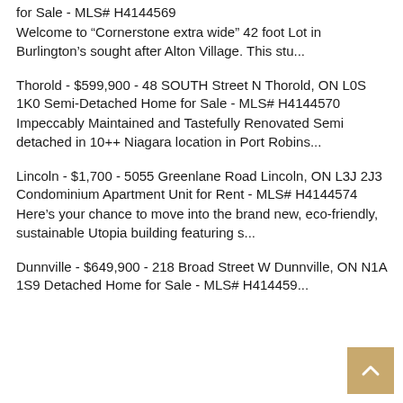for Sale - MLS# H4144569
Welcome to “Cornerstone extra wide” 42 foot Lot in Burlington’s sought after Alton Village. This stu...
Thorold - $599,900 - 48 SOUTH Street N Thorold, ON L0S 1K0 Semi-Detached Home for Sale - MLS# H4144570
Impeccably Maintained and Tastefully Renovated Semi detached in 10++ Niagara location in Port Robins...
Lincoln - $1,700 - 5055 Greenlane Road Lincoln, ON L3J 2J3 Condominium Apartment Unit for Rent - MLS# H4144574
Here’s your chance to move into the brand new, eco-friendly, sustainable Utopia building featuring s...
Dunnville - $649,900 - 218 Broad Street W Dunnville, ON N1A 1S9 Detached Home for Sale - MLS# H4144597